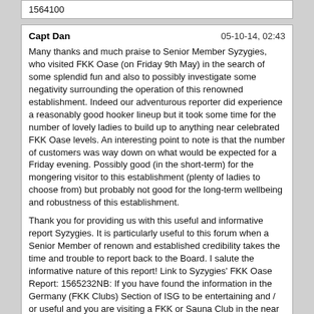1564100
Capt Dan
05-10-14, 02:43
Many thanks and much praise to Senior Member Syzygies, who visited FKK Oase (on Friday 9th May) in the search of some splendid fun and also to possibly investigate some negativity surrounding the operation of this renowned establishment. Indeed our adventurous reporter did experience a reasonably good hooker lineup but it took some time for the number of lovely ladies to build up to anything near celebrated FKK Oase levels. An interesting point to note is that the number of customers was way down on what would be expected for a Friday evening. Possibly good (in the short-term) for the mongering visitor to this establishment (plenty of ladies to choose from) but probably not good for the long-term wellbeing and robustness of this establishment.
Thank you for providing us with this useful and informative report Syzygies. It is particularly useful to this forum when a Senior Member of renown and established credibility takes the time and trouble to report back to the Board. I salute the informative nature of this report! Link to Syzygies' FKK Oase Report: 1565232NB: If you have found the information in the Germany (FKK Clubs) Section of ISG to be entertaining and / or useful and you are visiting a FKK or Sauna Club in the near future, why not give back to the Board and your fellow ISG members by making a report! Also please contact Captain Dan (by ISG Private Message) if you consider that a report which merits inclusion in the Germany FKK ROD Thread has been neglected and for whatever reason you are unable to post the link to this report yourself.
Capt Dan
05-10-14, 16:34
Following from his initial report, Senior Member Syzygies provides further detail relating to his exploratory visit to FKK Oase (on Friday 9th May; please see Report of Distinction immediately below for further information relating to this particular club visit). The following two supplementary reports include a hooker line-up list (LUL) for the evening in question (always very much appreciated by the membership and particularly by myself!) and also some commentary from